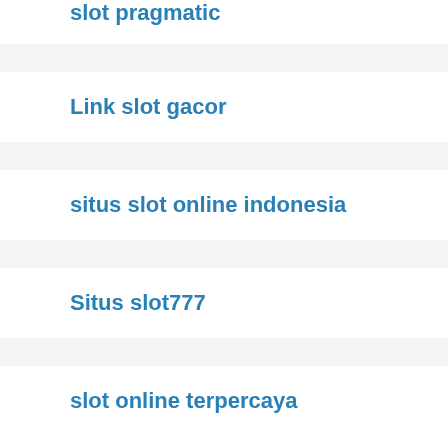slot pragmatic
Link slot gacor
situs slot online indonesia
Situs slot777
slot online terpercaya